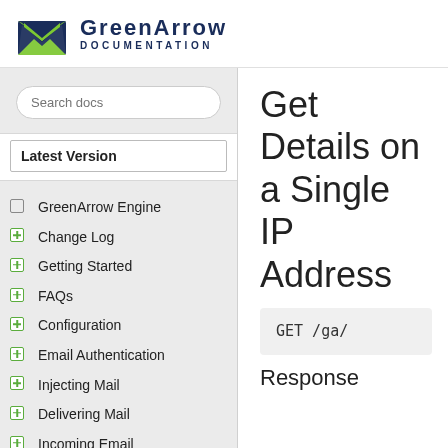GreenArrow DOCUMENTATION
Search docs
Latest Version
GreenArrow Engine
Change Log
Getting Started
FAQs
Configuration
Email Authentication
Injecting Mail
Delivering Mail
Incoming Email
Get Details on a Single IP Address
GET /ga/
Response